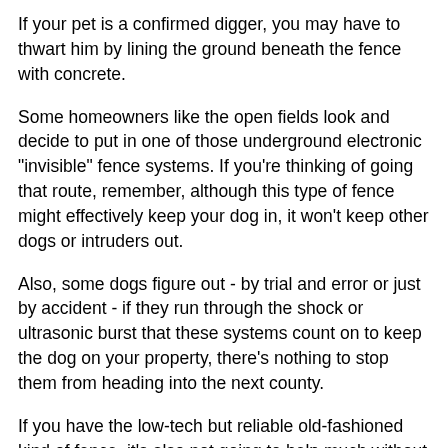If your pet is a confirmed digger, you may have to thwart him by lining the ground beneath the fence with concrete.
Some homeowners like the open fields look and decide to put in one of those underground electronic "invisible" fence systems. If you're thinking of going that route, remember, although this type of fence might effectively keep your dog in, it won't keep other dogs or intruders out.
Also, some dogs figure out - by trial and error or just by accident - if they run through the shock or ultrasonic burst that these systems count on to keep the dog on your property, there's nothing to stop them from heading into the next county.
If you have the low-tech but reliable old-fashioned kind of fence, it's also not going to help much without a well-maintained gate.The gate should be hinged to close and latch automatically when you enter or leave the yard, with no way for Rover to nose it open.
To read: Dognapping - What To Know To Keep Your Dog